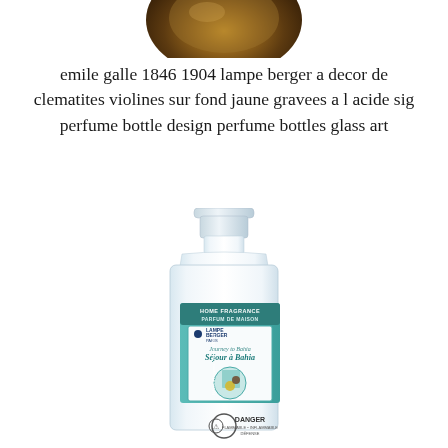[Figure (photo): Partial view of an Emile Gallé art glass lamp/bottle, brown and amber tones, cropped at top of page]
emile galle 1846 1904 lampe berger a decor de clematites violines sur fond jaune gravees a l acide sig perfume bottle design perfume bottles glass art
[Figure (photo): Lampe Berger Paris home fragrance bottle - Journey to Bahia / Séjour à Bahia, white/clear rectangular bottle with teal label, DANGER warning at bottom]